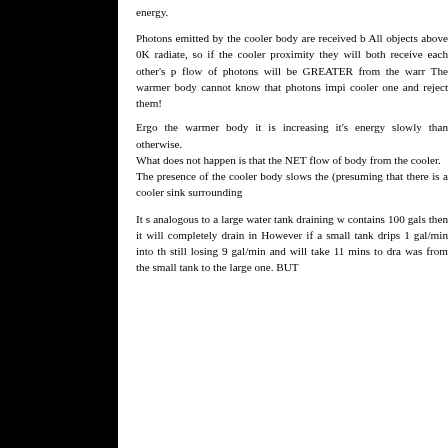energy.

Photons emitted by the cooler body are received b... All objects above 0K radiate, so if the cooler proximity they will both receive each other's p... flow of photons will be GREATER from the war... The warmer body cannot know that photons impi... cooler one and reject them!
Ergo the warmer body it is increasing it's energy... slowly than otherwise.
What does not happen is that the NET flow of... body from the cooler.
The presence of the cooler body slows the... (presuming that there is a cooler sink surrounding...

It s analogous to a large water tank draining w... contains 100 gals then it will completely drain in... However if a small tank drips 1 gal/min into th... still losing 9 gal/min and will take 11 mins to dra... was from the small tank to the large one. BUT...